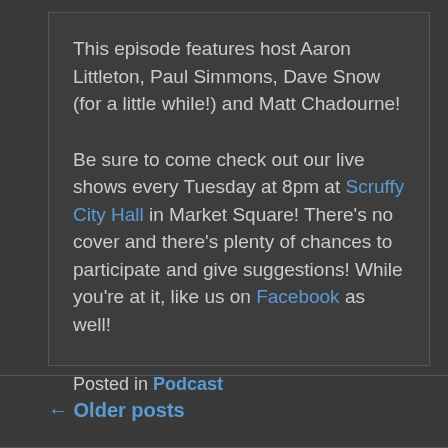This episode features host Aaron Littleton, Paul Simmons, Dave Snow (for a little while!) and Matt Chadourne!
Be sure to come check out our live shows every Tuesday at 8pm at Scruffy City Hall in Market Square! There's no cover and there's plenty of chances to participate and give suggestions! While you're at it, like us on Facebook as well!
Posted in Podcast
← Older posts